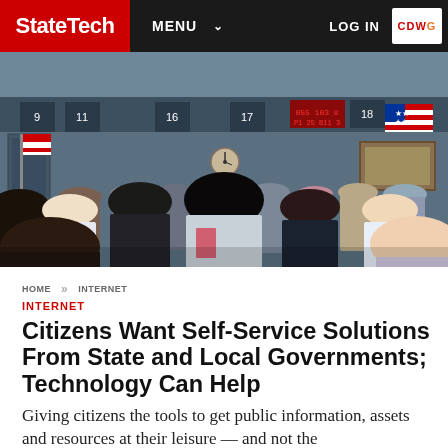StateTech | MENU | LOG IN | CDWG
[Figure (photo): Crowd of people standing in a government service office, viewed from behind, with numbered service windows visible in the background.]
HOME >> INTERNET
INTERNET
Citizens Want Self-Service Solutions From State and Local Governments; Technology Can Help
Giving citizens the tools to get public information, assets and resources at their leisure — and not the